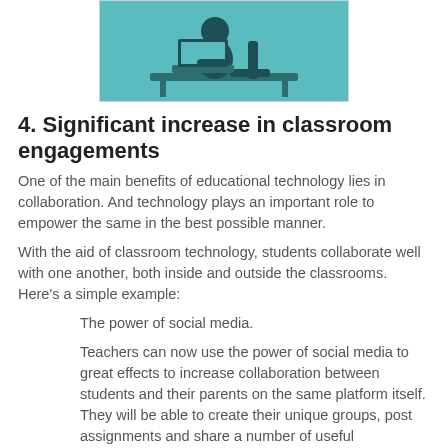[Figure (illustration): Silhouette illustration of a person sitting at a desk using a laptop, teal/green color scheme background]
4. Significant increase in classroom engagements
One of the main benefits of educational technology lies in collaboration. And technology plays an important role to empower the same in the best possible manner.
With the aid of classroom technology, students collaborate well with one another, both inside and outside the classrooms. Here’s a simple example:
The power of social media.
Teachers can now use the power of social media to great effects to increase collaboration between students and their parents on the same platform itself. They will be able to create their unique groups, post assignments and share a number of useful educational resources on the same...